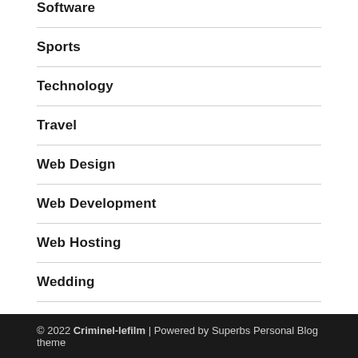Software
Sports
Technology
Travel
Web Design
Web Development
Web Hosting
Wedding
© 2022 Criminel-lefilm | Powered by Superbs Personal Blog theme